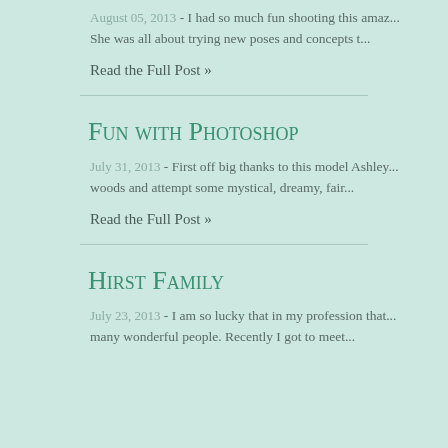August 05, 2013 - I had so much fun shooting this amaz... She was all about trying new poses and concepts t...
Read the Full Post »
Fun with Photoshop
July 31, 2013 - First off big thanks to this model Ashley... woods and attempt some mystical, dreamy, fair...
Read the Full Post »
Hirst Family
July 23, 2013 - I am so lucky that in my profession that... many wonderful people. Recently I got to meet...